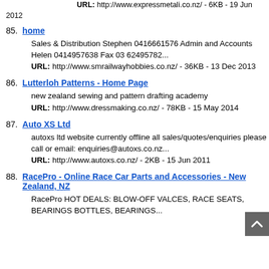URL: http://www.expressmetali.co.nz/ - 6KB - 19 Jun 2012
85. home
Sales & Distribution Stephen 0416661576 Admin and Accounts Helen 0414957638 Fax 03 62495782...
URL: http://www.smrailwayhobbies.co.nz/ - 36KB - 13 Dec 2013
86. Lutterloh Patterns - Home Page
new zealand sewing and pattern drafting academy
URL: http://www.dressmaking.co.nz/ - 78KB - 15 May 2014
87. Auto XS Ltd
autoxs ltd website currently offline all sales/quotes/enquiries please call or email: enquiries@autoxs.co.nz...
URL: http://www.autoxs.co.nz/ - 2KB - 15 Jun 2011
88. RacePro - Online Race Car Parts and Accessories - New Zealand, NZ
RacePro HOT DEALS: BLOW-OFF VALCES, RACE SEATS, BREATHER BOTTLES, BEARINGS...